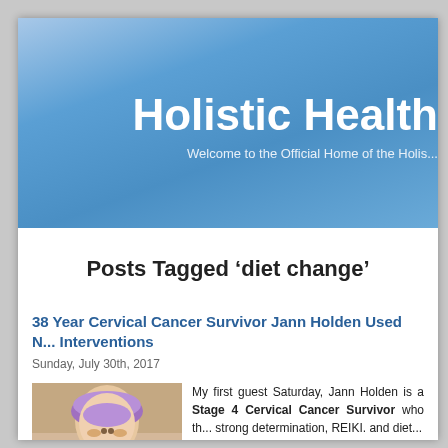Holistic Health
Welcome to the Official Home of the Holis...
Posts Tagged ‘diet change’
38 Year Cervical Cancer Survivor Jann Holden Used N... Interventions
Sunday, July 30th, 2017
[Figure (photo): Photo of Jann Holden, a woman with short purple hair]
My first guest Saturday, Jann Holden is a Stage 4 Cervical Cancer Survivor who th... strong determination, REIKI. and diet...